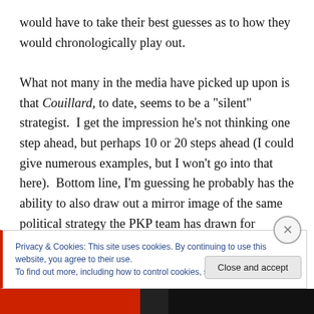would have to take their best guesses as to how they would chronologically play out.

What not many in the media have picked up upon is that Couillard, to date, seems to be a "silent" strategist. I get the impression he's not thinking one step ahead, but perhaps 10 or 20 steps ahead (I could give numerous examples, but I won't go into that here). Bottom line, I'm guessing he probably has the ability to also draw out a mirror image of the same political strategy the PKP team has drawn for
Privacy & Cookies: This site uses cookies. By continuing to use this website, you agree to their use.
To find out more, including how to control cookies, see here: Cookie Policy